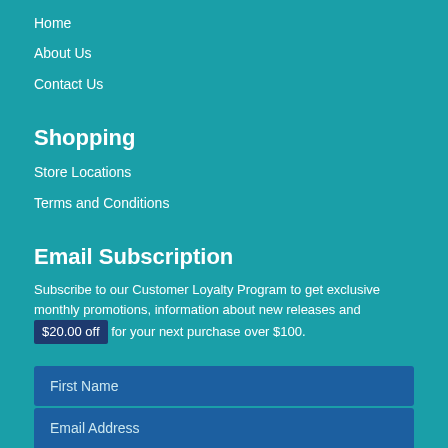Home
About Us
Contact Us
Shopping
Store Locations
Terms and Conditions
Email Subscription
Subscribe to our Customer Loyalty Program to get exclusive monthly promotions, information about new releases and $20.00 off for your next purchase over $100.
First Name
Last Name
Email Address